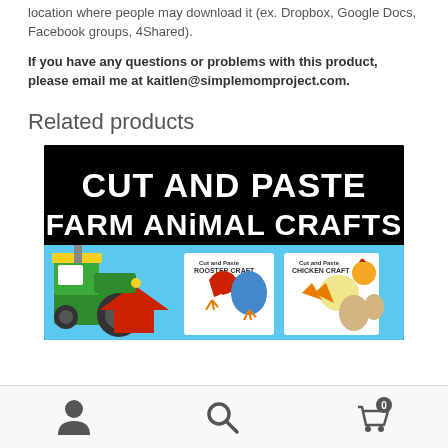location where people may download it (ex. Dropbox, Google Docs, Facebook groups, 4Shared).
If you have any questions or problems with this product, please email me at kaitlen@simplemomproject.com.
Related products
[Figure (illustration): Product thumbnail image for 'Cut and Paste Farm Animal Crafts' showing bold white text on black background with colorful farm animal craft illustrations including a green tractor, rooster craft, and chicken craft worksheets.]
Navigation bar with person/account icon, search icon, and shopping cart icon with badge showing 0